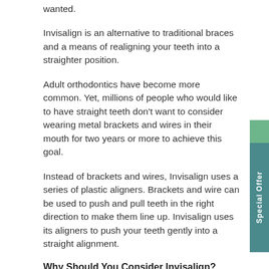wanted.
Invisalign is an alternative to traditional braces and a means of realigning your teeth into a straighter position.
Adult orthodontics have become more common. Yet, millions of people who would like to have straight teeth don't want to consider wearing metal brackets and wires in their mouth for two years or more to achieve this goal.
Instead of brackets and wires, Invisalign uses a series of plastic aligners. Brackets and wire can be used to push and pull teeth in the right direction to make them line up. Invisalign uses its aligners to push your teeth gently into a straight alignment.
Why Should You Consider Invisalign?
Invisalign offers some clear advantages when compared to traditional braces.